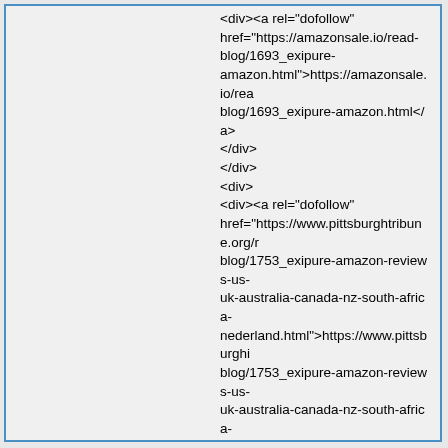<div><a rel="dofollow" href="https://amazonsale.io/read-blog/1693_exipure-amazon.html">https://amazonsale.io/read-blog/1693_exipure-amazon.html</a></div></div><div><div><a rel="dofollow" href="https://www.pittsburghtribune.org/r/blog/1753_exipure-amazon-reviews-us-uk-australia-canada-nz-south-africa-nederland.html">https://www.pittsburghtribune.org/blog/1753_exipure-amazon-reviews-us-uk-australia-canada-nz-south-africa-nederland.html</a></div></div><div><div><a rel="dofollow" href="https://ehealthcareplus.us/read-blog/4_exipure-weight-loss-reviews-is-exipure-safe-or-scam.html">https://ehealthcareplus.us/read-blog/4_exipure-weight-loss-reviews-is-exipure-safe-or-scam.html</a></div></div><div><div><a rel="dofollow" href="https://ehealthcareplus.us/read-blog/1_exipure-reviews-is-exipure